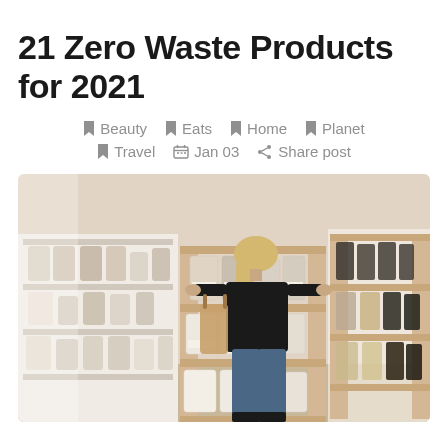21 Zero Waste Products for 2021
Beauty  Eats  Home  Planet  Travel  Jan 03  Share post
[Figure (photo): A woman with blonde hair dressed in a black top and jeans stands in a zero-waste store browsing wooden shelves filled with glass jars containing various bulk foods and products. She carries a canvas tote bag. The shelves span the width of the scene in a warm, light-toned interior.]